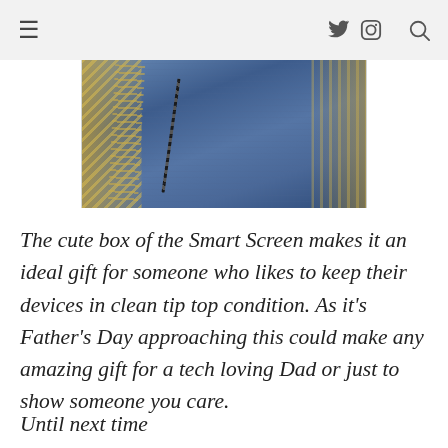≡  𝕏 📷 🔍
[Figure (photo): Close-up photo of denim fabric with gold sequins and a dark chain necklace]
The cute box of the Smart Screen makes it an ideal gift for someone who likes to keep their devices in clean tip top condition. As it's Father's Day approaching this could make any amazing gift for a tech loving Dad or just to show someone you care.
Until next time